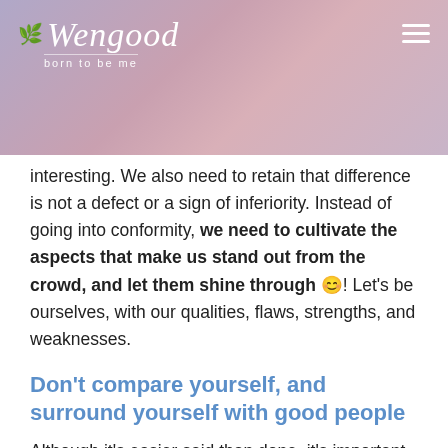[Figure (other): Wengood website header with logo, tagline 'Born to be me', hamburger menu icon, and a blurred pink/purple gradient background with hot air balloons.]
interesting. We also need to retain that difference is not a defect or a sign of inferiority. Instead of going into conformity, we need to cultivate the aspects that make us stand out from the crowd, and let them shine through 😊! Let's be ourselves, with our qualities, flaws, strengths, and weaknesses.
Don't compare yourself, and surround yourself with good people
Although it's easier said than done, it's important not to try to compare ourselves to others. As I said before, each one of us is unique! This is why it is important to realize that a person who is gifted in one area will not be gifted in another. We can